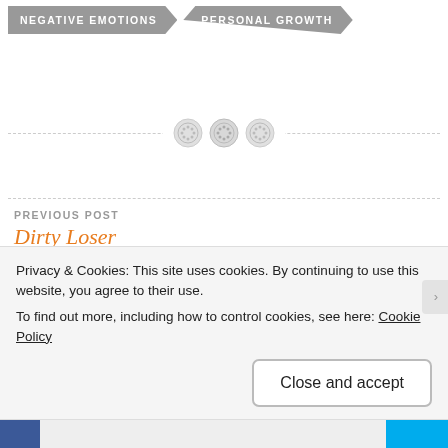[Figure (other): Partial arrow-shaped tag banners at the top, cut off, for navigation categories]
NEGATIVE EMOTIONS
PERSONAL GROWTH
[Figure (other): Three decorative button/dot icons on a dashed horizontal rule separator]
PREVIOUS POST
Dirty Loser
NEXT POST
Fresh Starting
Privacy & Cookies: This site uses cookies. By continuing to use this website, you agree to their use.
To find out more, including how to control cookies, see here: Cookie Policy
Close and accept